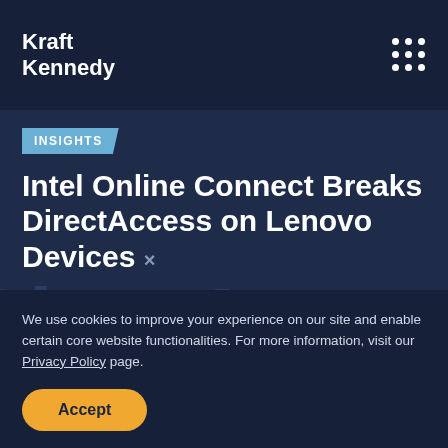Kraft Kennedy
INSIGHTS
Intel Online Connect Breaks DirectAccess on Lenovo Devices
We use cookies to improve your experience on our site and enable certain core website functionalities. For more information, visit our Privacy Policy page.
Accept